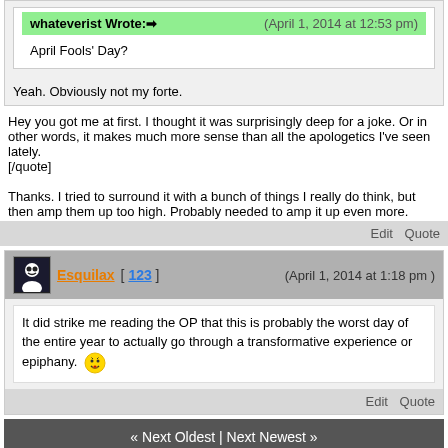whateverist Wrote:→ (April 1, 2014 at 12:53 pm)
April Fools' Day?
Yeah. Obviously not my forte.
Hey you got me at first. I thought it was surprisingly deep for a joke. Or in other words, it makes much more sense than all the apologetics I've seen lately.
[/quote]

Thanks. I tried to surround it with a bunch of things I really do think, but then amp them up too high. Probably needed to amp it up even more.
Edit  Quote
Esquilax [ 123 ] (April 1, 2014 at 1:18 pm)
It did strike me reading the OP that this is probably the worst day of the entire year to actually go through a transformative experience or epiphany. 😛
Edit  Quote
« Next Oldest | Next Newest »